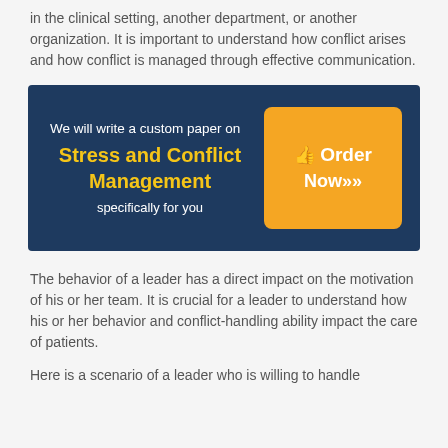in the clinical setting, another department, or another organization. It is important to understand how conflict arises and how conflict is managed through effective communication.
[Figure (infographic): Dark navy blue advertisement box with text 'We will write a custom paper on' in white, title 'Stress and Conflict Management' in yellow/gold bold text, 'specifically for you' in white below, and an orange rounded button on the right with a thumbs-up icon and text 'Order Now>>>']
The behavior of a leader has a direct impact on the motivation of his or her team. It is crucial for a leader to understand how his or her behavior and conflict-handling ability impact the care of patients.
Here is a scenario of a leader who is willing to handle